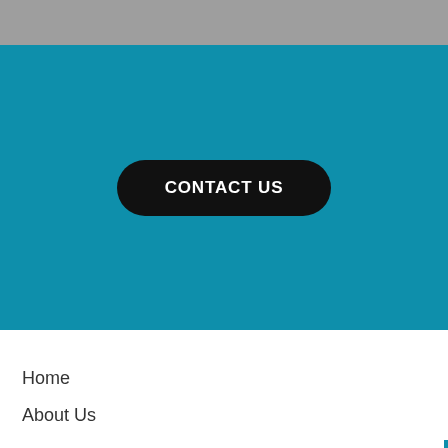[Figure (screenshot): Gray header bar at top of webpage]
[Figure (screenshot): Teal/blue call-to-action section with a black rounded button labeled CONTACT US]
Home
About Us